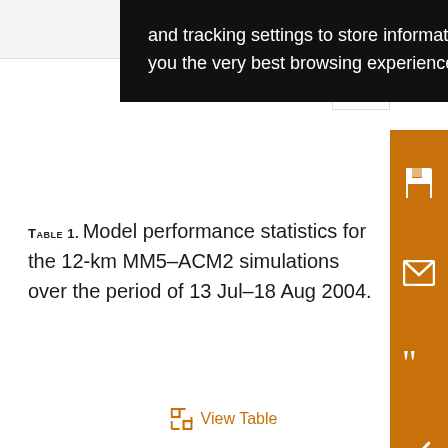[Figure (screenshot): Cookie consent popup overlay with dark background reading: 'and tracking settings to store information that help give you the very best browsing experience.']
Table 1. Model performance statistics for the 12-km MM5–ACM2 simulations over the period of 13 Jul–18 Aug 2004.
View Table